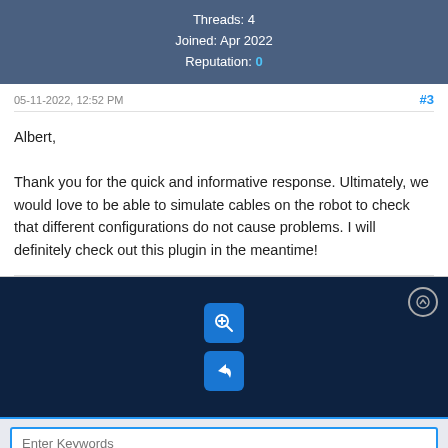Threads: 4
Joined: Apr 2022
Reputation: 0
05-11-2022, 12:52 PM
#3
Albert,

Thank you for the quick and informative response. Ultimately, we would love to be able to simulate cables on the robot to check that different configurations do not cause problems. I will definitely check out this plugin in the meantime!
[Figure (screenshot): Dark blue footer bar with a zoom-in icon button and a reply/back icon button, plus a circular arrow icon in the top-right corner]
Enter Keywords